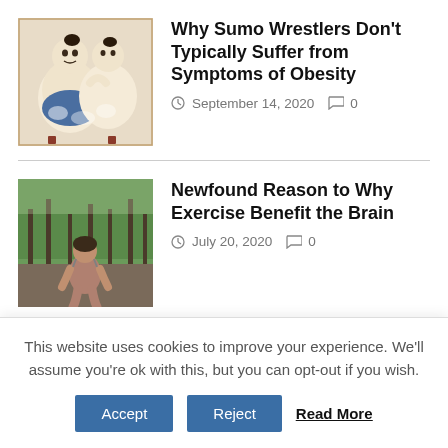[Figure (illustration): Japanese woodblock-style illustration of sumo wrestlers]
Why Sumo Wrestlers Don't Typically Suffer from Symptoms of Obesity
September 14, 2020  ⊙ 0
[Figure (photo): Person sitting outdoors in a forested area]
Newfound Reason to Why Exercise Benefit the Brain
July 20, 2020  ⊙ 0
[Figure (photo): Dark blue/teal image related to air pollution]
Air Pollution May Be a
This website uses cookies to improve your experience. We'll assume you're ok with this, but you can opt-out if you wish.
Accept  Reject  Read More